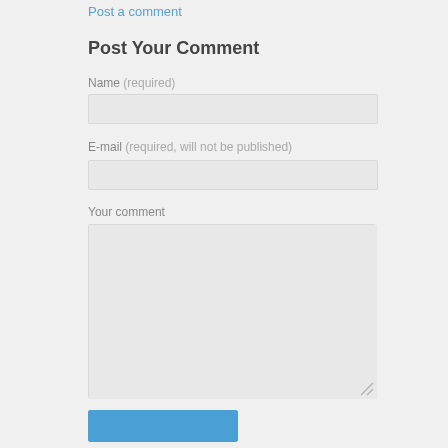Post a comment
Post Your Comment
Name (required)
[Figure (screenshot): Text input field for Name]
E-mail (required, will not be published)
[Figure (screenshot): Text input field for E-mail]
Your comment
[Figure (screenshot): Textarea for comment with resize handle]
[Figure (screenshot): Submit button (blue)]